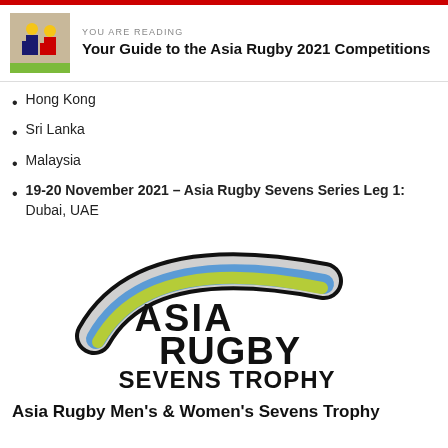YOU ARE READING
Your Guide to the Asia Rugby 2021 Competitions
Hong Kong
Sri Lanka
Malaysia
19-20 November 2021 – Asia Rugby Sevens Series Leg 1: Dubai, UAE
[Figure (logo): Asia Rugby Sevens Trophy logo with swoosh design in blue, green, and yellow/green colors above the text ASIA RUGBY SEVENS TROPHY]
Asia Rugby Men's & Women's Sevens Trophy